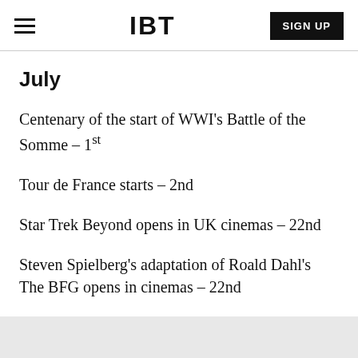IBT | SIGN UP
July
Centenary of the start of WWI's Battle of the Somme – 1st
Tour de France starts – 2nd
Star Trek Beyond opens in UK cinemas – 22nd
Steven Spielberg's adaptation of Roald Dahl's The BFG opens in cinemas – 22nd